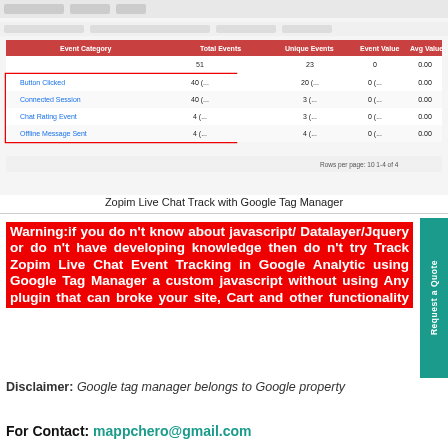[Figure (screenshot): Screenshot of a Google Analytics interface showing Zopim Live Chat event tracking data in a table with columns for Event Category, Event Action, Event Label, Total Events, and Avg. Value]
Zopim Live Chat Track with Google Tag Manager
Warning:if you do n't know about javascript/ Datalayer/Jquery or do n't have developing knowledge then do n't try Track Zopim Live Chat Event Tracking in Google Analytic using Google Tag Manager a custom javascript without using Any plugin that can broke your site, Cart and other functionality
Disclaimer: Google tag manager belongs to Google property
For Contact: mappchero@gmail.com